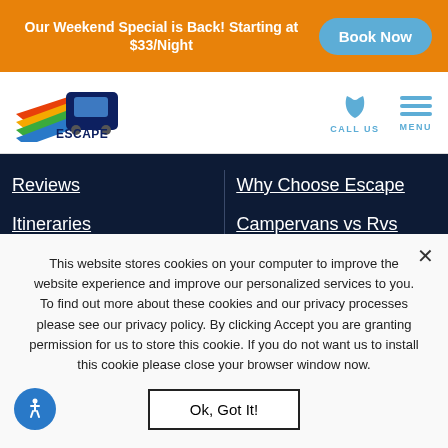Our Weekend Special is Back! Starting at $33/Night   Book Now
[Figure (logo): Escape Campervans logo with rainbow wing stripes and dark blue text]
Reviews
Itineraries
Galleries
About Us
Artists
Why Choose Escape
Campervans vs Rvs
Insurance
Rates
Rental Requirements
This website stores cookies on your computer to improve the website experience and improve our personalized services to you. To find out more about these cookies and our privacy processes please see our privacy policy. By clicking Accept you are granting permission for us to store this cookie. If you do not want us to install this cookie please close your browser window now.
Ok, Got It!